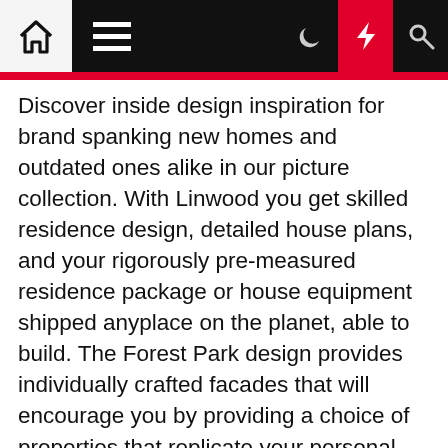[Navigation bar with home, menu, moon, lightning, and search icons]
Discover inside design inspiration for brand spanking new homes and outdated ones alike in our picture collection. With Linwood you get skilled residence design, detailed house plans, and your rigorously pre-measured residence package or house equipment shipped anyplace on the planet, able to build. The Forest Park design provides individually crafted facades that will encourage you by providing a choice of properties that replicate your personal way of life and preferences.
Planner 5D hereby grants you a restricted, non-transferrable, non-sublicensable, non-unique and revocable license to access and make use of the Services for non-commercial functions solely (protected for the enterprise license which have to be bought individually; please contact us at hiya@